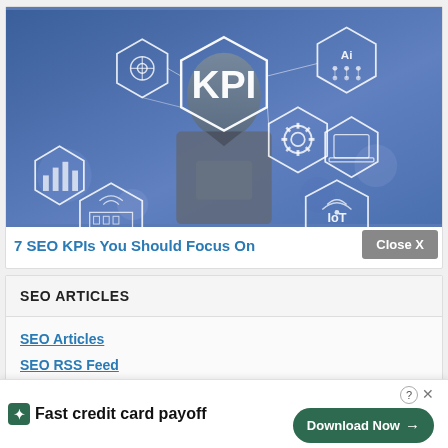[Figure (photo): KPI technology concept image showing a person with hexagonal icons representing AI, IoT, gears, and other tech/business concepts on a blue background]
7 SEO KPIs You Should Focus On
SEO ARTICLES
SEO Articles
SEO RSS Feed
Ipho
201
[Figure (screenshot): Ad overlay: Tally app ad saying 'Fast credit card payoff' with a Download Now button, and a Close X button]
Close X
Fast credit card payoff
Download Now →